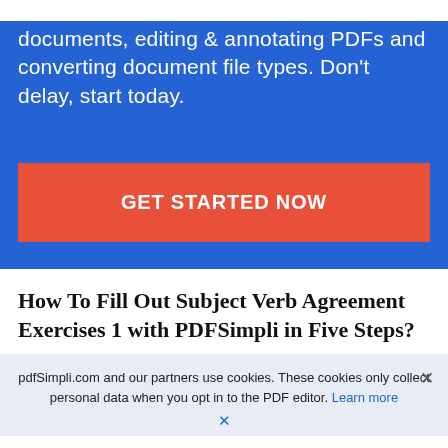PDFSimpli is the best solution for filling out documents, editing & annotating PDFs and converting document file types. Don't delay, start today.
GET STARTED NOW
How To Fill Out Subject Verb Agreement Exercises 1 with PDFSimpli in Five Steps?
pdfSimpli.com and our partners use cookies. These cookies only collect personal data when you opt in to the PDF editor. Learn more